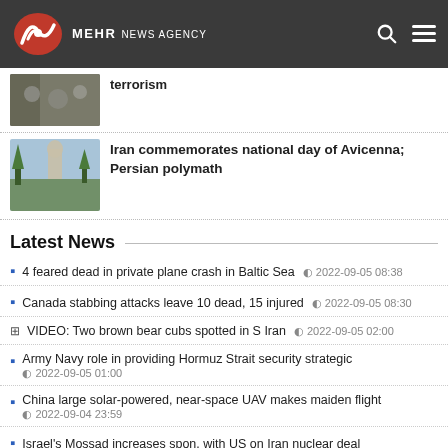MEHR NEWS AGENCY
terrorism
Iran commemorates national day of Avicenna; Persian polymath
Latest News
4 feared dead in private plane crash in Baltic Sea  2022-09-05 08:38
Canada stabbing attacks leave 10 dead, 15 injured  2022-09-05 08:30
VIDEO: Two brown bear cubs spotted in S Iran  2022-09-05 02:00
Army Navy role in providing Hormuz Strait security strategic  2022-09-05 01:00
China large solar-powered, near-space UAV makes maiden flight  2022-09-04 23:59
Israel's Mossad increases spon. with US on Iran nuclear deal